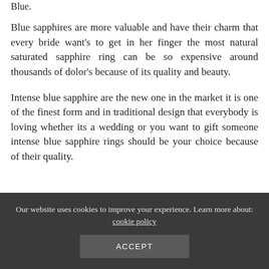Blue.
Blue sapphires are more valuable and have their charm that every bride want's to get in her finger the most natural saturated sapphire ring can be so expensive around thousands of dolor's because of its quality and beauty.
Intense blue sapphire are the new one in the market it is one of the finest form and in traditional design that everybody is loving whether its a wedding or you want to gift someone intense blue sapphire rings should be your choice because of their quality.
Our website uses cookies to improve your experience. Learn more about: cookie policy
ACCEPT